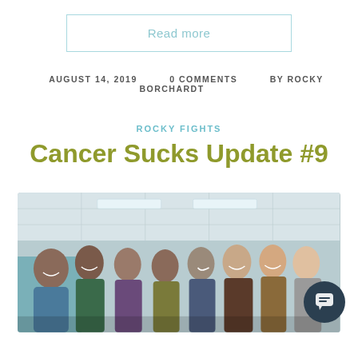Read more
AUGUST 14, 2019   0 COMMENTS   BY ROCKY BORCHARDT
ROCKY FIGHTS
Cancer Sucks Update #9
[Figure (photo): Group photo of people smiling in a medical/clinical setting with ceiling tiles and fluorescent lights visible in the background. A chat bubble widget is overlaid in the bottom right corner.]